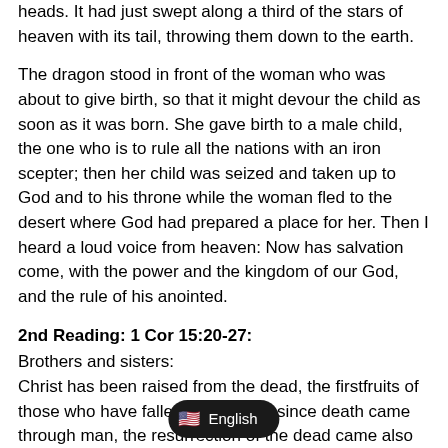heads. It had just swept along a third of the stars of heaven with its tail, throwing them down to the earth.
The dragon stood in front of the woman who was about to give birth, so that it might devour the child as soon as it was born. She gave birth to a male child, the one who is to rule all the nations with an iron scepter; then her child was seized and taken up to God and to his throne while the woman fled to the desert where God had prepared a place for her. Then I heard a loud voice from heaven: Now has salvation come, with the power and the kingdom of our God, and the rule of his anointed.
2nd Reading: 1 Cor 15:20-27:
Brothers and sisters:
Christ has been raised from the dead, the firstfruits of those who have fallen asleep. For since death came through man, the resurrection of the dead came also through man. For just as in Adam all die, so too in Christ shall all be brought to life, but each one in proper order: Christ the firstfruits; then, at h[…]hose who belong to Christ; then comes the